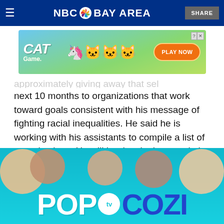NBC BAY AREA  SHARE
[Figure (photo): Cat Game mobile game advertisement banner with cartoon cats and 'PLAY NOW' button]
next 10 months to organizations that work toward goals consistent with his message of fighting racial inequalities. He said he is working with his assistants to compile a list of organizations. He will be developing a website that creates transparency. The site will track which organizations receive his financial assistance, as well as how the organizations spend the money he donates, he said.
[Figure (photo): POP TV Cozi advertisement banner with upside-down faces on teal background]